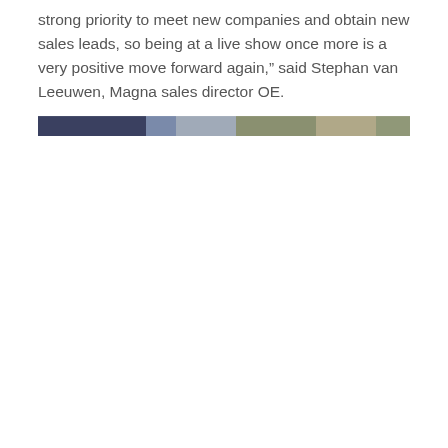strong priority to meet new companies and obtain new sales leads, so being at a live show once more is a very positive move forward again,” said Stephan van Leeuwen, Magna sales director OE.
[Figure (photo): A narrow horizontal photo strip showing what appears to be a trade show or event scene with dark blue and muted green/beige tones.]